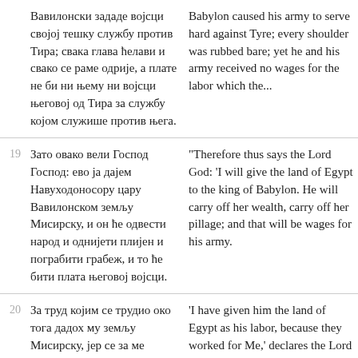| Verse | Serbian | English |
| --- | --- | --- |
|  | Вавилонски зададе војсци својој тешку службу против Тира; свака глава ћелави и свако се раме одрије, а плате не би ни њему ни војсци његовој од Тира за службу којом служише против њега. | Babylon caused his army to serve hard against Tyre; every head was made bald and every shoulder was rubbed bare; yet he and his army received no wages from Tyre for the labor which they had performed against it. |
| 19 | Зато овако вели Господ Господ: ево ја дајем Навуходоносору цару Вавилонском земљу Мисирску, и он ће одвести народ и однијети плијен и пограбити грабеж, и то ће бити плата његовој војсци. | "Therefore thus says the Lord God, 'Behold, I will give the land of Egypt to Nebuchadnezzar king of Babylon. And he will carry off her wealth, carry off her spoil and seize her pillage; and that will be the wages for his army. |
| 20 | За труд којим се трудио око тога дадох му земљу Мисирску, јер се за ме трудише, говори Господ Господ. | 'I have given him the land of Egypt as his labor, because they worked for Me,' declares the Lord God. |
| 21 | У онај ћу дан учинити да нарасте рог дому Израиљеву, и теби ћу отворити уста међу њима, и знаће да сам ја Господ. | 'In that day I will make a horn sprout for the house of Israel to spring forth, and I will open your mouth to speak among them. Then they will know that I am the LORD.' |